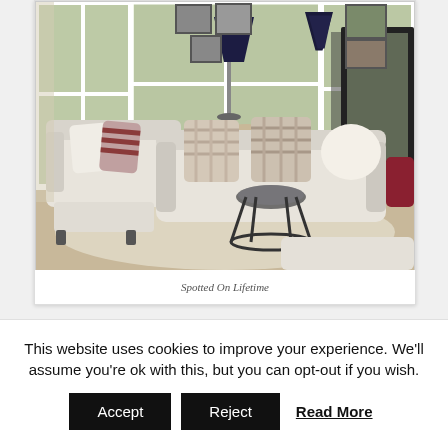[Figure (photo): Interior living room photo showing white slipcovered sofas and armchairs arranged around a small round black metal side table. Plaid and striped throw pillows accent the seating. A tall black lamp stands in the background near large windows. Framed artwork hangs on the walls. A large black-framed mirror is visible on the right wall. A light-colored area rug covers the floor.]
Spotted On Lifetime
This website uses cookies to improve your experience. We'll assume you're ok with this, but you can opt-out if you wish. Accept Reject Read More